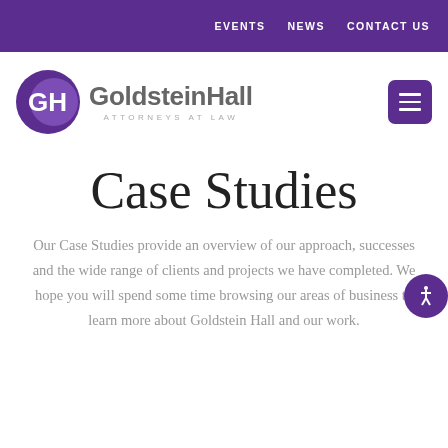EVENTS   NEWS   CONTACT US
[Figure (logo): GoldsteinHall Attorneys at Law logo with purple GH circle icon and firm name]
Case Studies
Our Case Studies provide an overview of our approach, successes and the wide range of clients and projects we have completed. We hope you will spend some time browsing our areas of business to learn more about Goldstein Hall and our work.